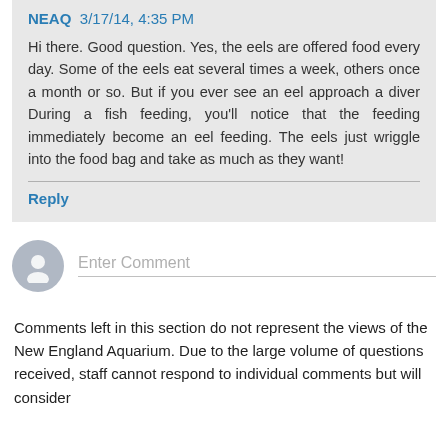NEAQ 3/17/14, 4:35 PM
Hi there. Good question. Yes, the eels are offered food every day. Some of the eels eat several times a week, others once a month or so. But if you ever see an eel approach a diver During a fish feeding, you'll notice that the feeding immediately become an eel feeding. The eels just wriggle into the food bag and take as much as they want!
Reply
Enter Comment
Comments left in this section do not represent the views of the New England Aquarium. Due to the large volume of questions received, staff cannot respond to individual comments but will consider